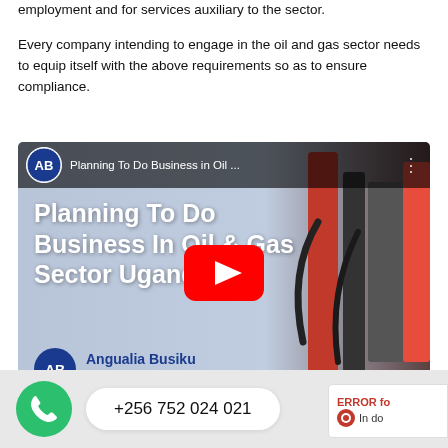employment and for services auxiliary to the sector.

Every company intending to engage in the oil and gas sector needs to equip itself with the above requirements so as to ensure compliance.
[Figure (screenshot): YouTube video thumbnail for 'Planning To Do Business in Oil & Gas Sector Uganda' by Angualia Busiku & Co. Advocates, showing the YouTube play button overlay and a background image of fuel pump nozzles.]
+256 752 024 021